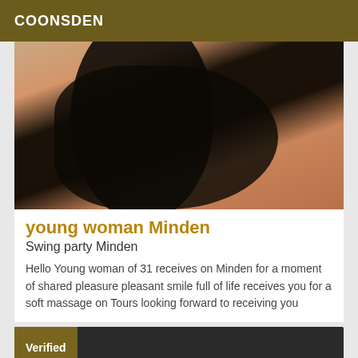COONSDEN
[Figure (photo): Close-up photo of a person in a black outfit, showing torso and legs]
young woman Minden
Swing party Minden
Hello Young woman of 31 receives on Minden for a moment of shared pleasure pleasant smile full of life receives you for a soft massage on Tours looking forward to receiving you
Verified